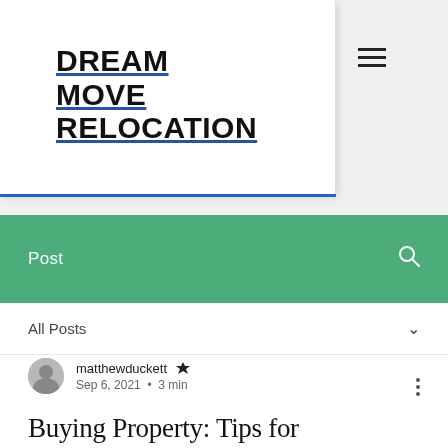DREAM MOVE RELOCATION
Post
All Posts
matthewduckett Admin
Sep 6, 2021 · 3 min
Buying Property: Tips for First-Time Homeowners and Investors
For first-time property buyers and real estate investors alike, buying a home